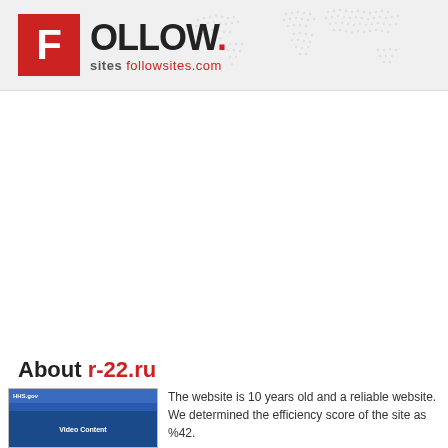[Figure (logo): FollowSites logo with red F box and FOLLOW. text with followsites.com URL]
About r-22.ru
[Figure (screenshot): Screenshot thumbnail of HHS.gov website with blue header and Video Content visible]
The website is 10 years old and a reliable website. We determined the efficiency score of the site as %42.